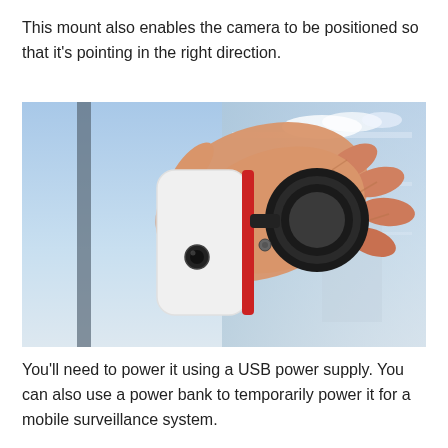This mount also enables the camera to be positioned so that it's pointing in the right direction.
[Figure (photo): A hand holding a small white and red rectangular camera device attached to a black suction cup mount, positioned against a glass surface with sky visible in the background.]
You'll need to power it using a USB power supply. You can also use a power bank to temporarily power it for a mobile surveillance system.